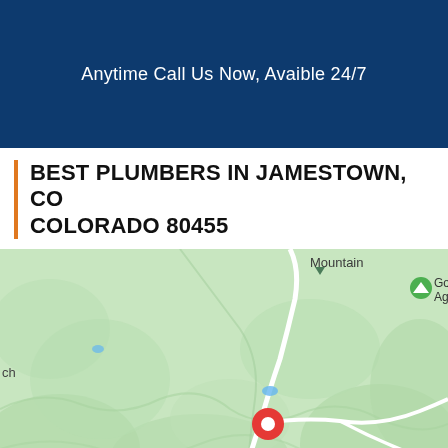Anytime Call Us Now, Avaible 24/7
BEST PLUMBERS IN JAMESTOWN, CO COLORADO 80455
[Figure (map): Google Maps view of Jamestown, Colorado area showing terrain in green, roads in white, with markers for Mountain, Blue Jay Mine, and a red location pin. Shows partial labels including 'ch' on left edge and 'Go Ag' on right edge.]